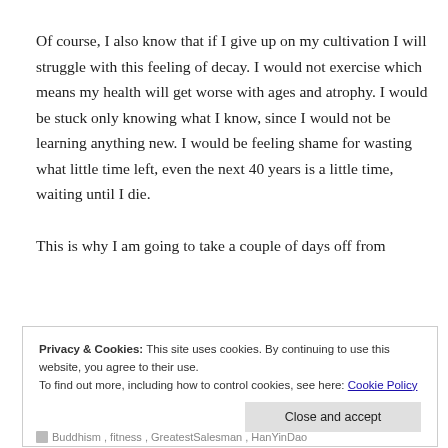Of course, I also know that if I give up on my cultivation I will struggle with this feeling of decay. I would not exercise which means my health will get worse with ages and atrophy. I would be stuck only knowing what I know, since I would not be learning anything new. I would be feeling shame for wasting what little time left, even the next 40 years is a little time, waiting until I die.

This is why I am going to take a couple of days off from
Privacy & Cookies: This site uses cookies. By continuing to use this website, you agree to their use.
To find out more, including how to control cookies, see here: Cookie Policy
Close and accept
Buddhism, fitness, GreatestSalesman, HanYinDao